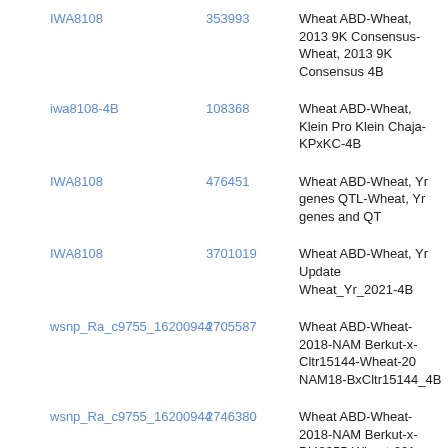| Marker | ID | Description |
| --- | --- | --- |
| IWA8108 | 353993 | Wheat ABD-Wheat, 2013 9K Consensus-Wheat, 2013 9K Consensus 4B |
| iwa8108-4B | 108368 | Wheat ABD-Wheat, Klein Pro Klein Chaja-KPxKC-4B |
| IWA8108 | 476451 | Wheat ABD-Wheat, Yr genes QTL-Wheat, Yr genes and QT |
| IWA8108 | 3701019 | Wheat ABD-Wheat, Yr Update Wheat_Yr_2021-4B |
| wsnp_Ra_c9755_16200944 | 2705587 | Wheat ABD-Wheat-2018-NAM Berkut-x-Cltr15144-Wheat-20 NAM18-BxCltr15144_4B |
| wsnp_Ra_c9755_16200944 | 2746380 | Wheat ABD-Wheat-2018-NAM Berkut-x-PI43355-Wheat-201 NAM19-BxPI43355_4B |
| wsnp_Ra_c9755_16200944 | 1782111 | Wheat ABD-Wheat-2018-NAM Berkut-x-PI572692-Wheat-20 NAM2-BxPI572692_4B |
| wsnp_Ra_c9755_16200944 | 2915263 | Wheat ABD-Wheat-2018-NAM Berkut-x-PI192147-Wheat-20 NAM24-BxPI192147_4B |
| wsnp_Ra_c9755_16200944 | 2073658 | Wheat ABD-Wheat-2018-NAM Berkut-x-PI382150-Wheat-20 NAM5-BxPI382150_4B |
| wsnp_Ra_c9755_16200944 |  | Wheat ABD-Wheat-2018-NAM |